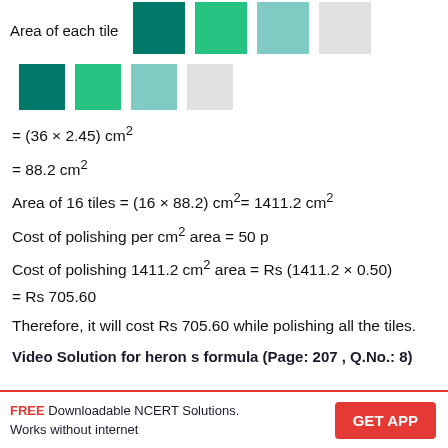[Figure (illustration): Row of colored square tiles of decreasing color intensity (dark green, medium green, light green, very light gray) shown in two rows representing area of each tile]
Area of 16 tiles = (16 × 88.2) cm²= 1411.2 cm²
Cost of polishing per cm² area = 50 p
Cost of polishing 1411.2 cm² area = Rs (1411.2 × 0.50) = Rs 705.60
Therefore, it will cost Rs 705.60 while polishing all the tiles.
Video Solution for heron s formula (Page: 207 , Q.No.: 8)
FREE Downloadable NCERT Solutions. Works without internet | GET APP